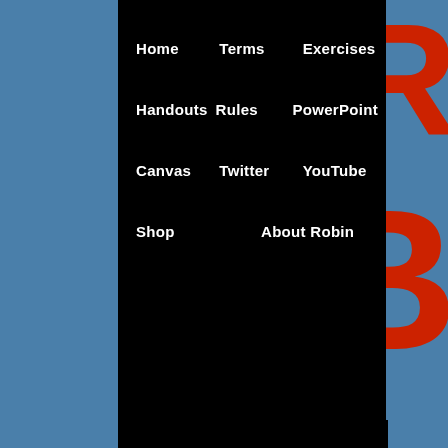Home
Terms
Exercises
Handouts
Rules
PowerPoint
Canvas
Twitter
YouTube
Shop
About Robin
[Figure (illustration): Buy me a coffee button with coffee cup icon]
a conjunctive adverb